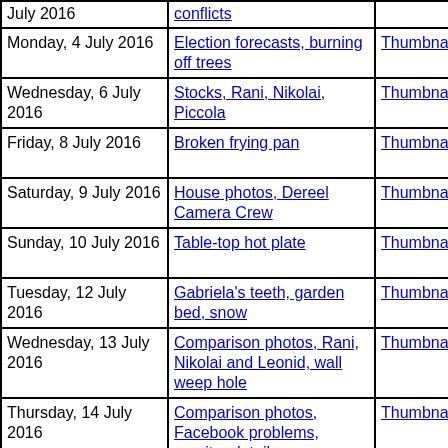| Date | Topic | Thumbnails | Small photos | Diary |
| --- | --- | --- | --- | --- |
| July 2016 (partial) | conflicts |  | photos |  |
| Monday, 4 July 2016 | Election forecasts, burning off trees | Thumbnails | Small photos | diary |
| Wednesday, 6 July 2016 | Stocks, Rani, Nikolai, Piccola | Thumbnails | Small photos | diary |
| Friday, 8 July 2016 | Broken frying pan | Thumbnails | Small photos | diary |
| Saturday, 9 July 2016 | House photos, Dereel Camera Crew | Thumbnails | Small photos | diary |
| Sunday, 10 July 2016 | Table-top hot plate | Thumbnails | Small photos | diary |
| Tuesday, 12 July 2016 | Gabriela's teeth, garden bed, snow | Thumbnails | Small photos | diary |
| Wednesday, 13 July 2016 | Comparison photos, Rani, Nikolai and Leonid, wall weep hole | Thumbnails | Small photos | diary |
| Thursday, 14 July 2016 | Comparison photos, Facebook problems, monitor details, motherboard, lost dog | Thumbnails | Small photos | diary |